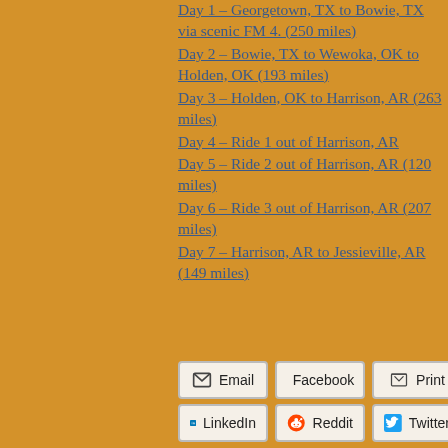Day 1 – Georgetown, TX to Bowie, TX via scenic FM 4. (250 miles)
Day 2 – Bowie, TX to Wewoka, OK to Holden, OK (193 miles)
Day 3 – Holden, OK to Harrison, AR  (263 miles)
Day 4 – Ride 1 out of Harrison, AR
Day 5 – Ride 2 out of Harrison, AR  (120 miles)
Day 6 – Ride 3 out of Harrison, AR  (207 miles)
Day 7 – Harrison, AR to Jessieville, AR (149 miles)